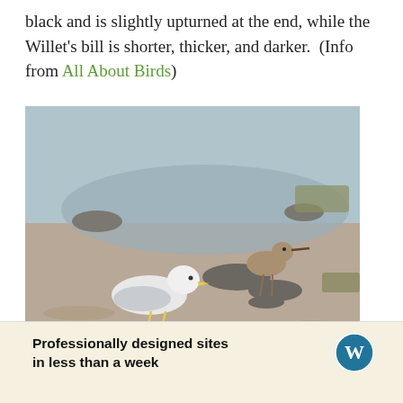black and is slightly upturned at the end, while the Willet's bill is shorter, thicker, and darker. (Info from All About Birds)
[Figure (photo): Two shorebirds wading in shallow mudflat water. A white seagull on the left and a brownish wading bird (likely a Willet) on the right, standing on a rock. Muddy tidal flat background with scattered rocks and vegetation.]
Advertisements
Professionally designed sites in less than a week